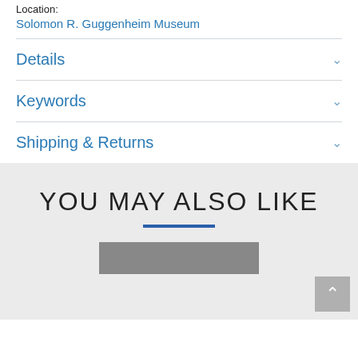Location:
Solomon R. Guggenheim Museum
Details
Keywords
Shipping & Returns
YOU MAY ALSO LIKE
[Figure (photo): Partial thumbnail preview of a related product image at the bottom of the page]